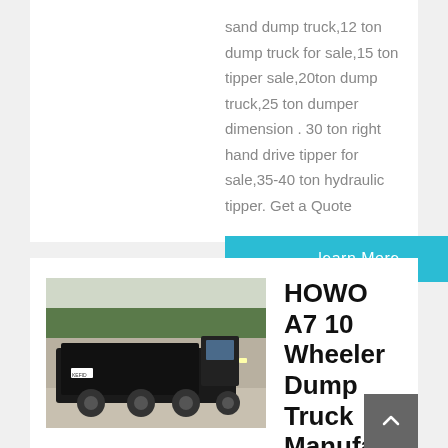sand dump truck,12 ton dump truck for sale,15 ton tipper sale,20ton dump truck,25 ton dumper dimension . 30 ton right hand drive tipper for sale,35-40 ton hydraulic tipper. Get a Quote
learn More
[Figure (photo): Photo of a HOWO A7 dump truck parked outdoors with trees in background]
HOWO A7 10 Wheeler Dump Truck Manufacturer
Kefid · HOWO A7 Type Large Capacity 6X4 Dump Truck. Hot Sale 6x4 Dump Truck of HOWO A7 Hot